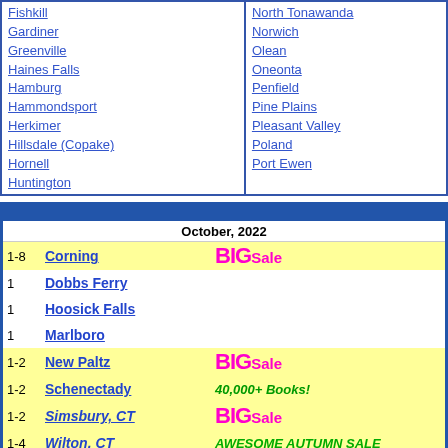Fishkill
Gardiner
Greenville
Haines Falls
Hamburg
Hammondsport
Herkimer
Hillsdale (Copake)
Hornell
Huntington
North Tonawanda
Norwich
Olean
Oneonta
Penfield
Pine Plains
Pleasant Valley
Poland
Port Ewen
| Day | City | Note |
| --- | --- | --- |
| October, 2022 |  |  |
| 1-8 | Corning | BIG Sale |
| 1 | Dobbs Ferry |  |
| 1 | Hoosick Falls |  |
| 1 | Marlboro |  |
| 1-2 | New Paltz | BIG Sale |
| 1-2 | Schenectady | 40,000+ Books! |
| 1-2 | Simsbury, CT | BIG Sale |
| 1-4 | Wilton, CT | AWESOME AUTUMN SALE |
| 1 | Woodstock |  |
| 2 | Plymouth, MI | BOOKFEST! |
| 4 | Albany |  |
| 6 | Batavia |  |
| 6-8 | Candor |  |